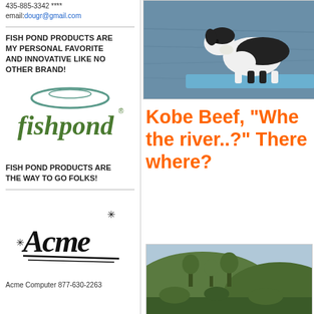435-885-3342 ****
email:dougr@gmail.com
FISH POND PRODUCTS ARE MY PERSONAL FAVORITE AND INNOVATIVE LIKE NO OTHER BRAND!
[Figure (logo): Fishpond brand logo with oval ring and italic text 'fishpond']
FISH POND PRODUCTS ARE THE WAY TO GO FOLKS!
[Figure (logo): Acme brand logo in stylized script with asterisk decorations]
Acme Computer 877-630-2263
[Figure (photo): Black and white dog standing on a blue surface over water, looking down at the water]
Kobe Beef, “Whe the river..?” There where?
[Figure (photo): Landscape photo of a hillside with trees and shrubs]